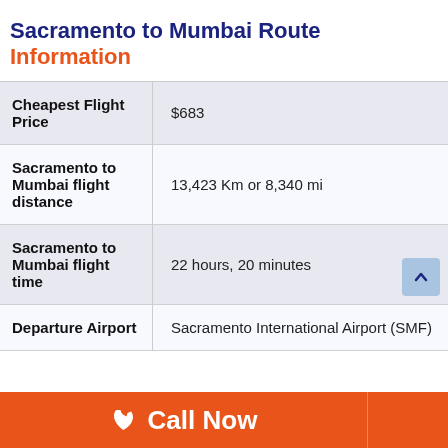Sacramento to Mumbai Route Information
| Label | Value |
| --- | --- |
| Cheapest Flight Price | $683 |
| Sacramento to Mumbai flight distance | 13,423 Km or 8,340 mi |
| Sacramento to Mumbai flight time | 22 hours, 20 minutes |
| Departure Airport | Sacramento International Airport (SMF) |
Call Now